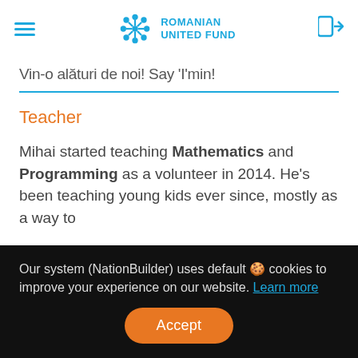Romanian United Fund
Vin-o alături de noi! Say 'I'min!
Teacher
Mihai started teaching Mathematics and Programming as a volunteer in 2014. He's been teaching young kids ever since, mostly as a way to
Our system (NationBuilder) uses default 🍪 cookies to improve your experience on our website. Learn more
Accept